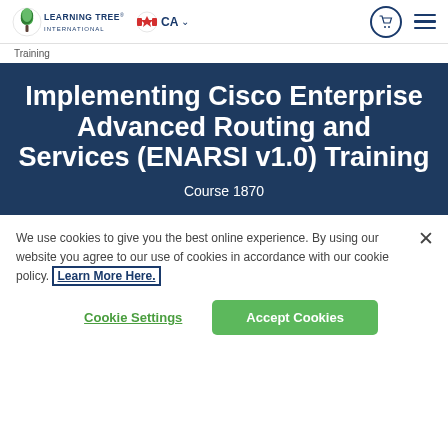[Figure (logo): Learning Tree International logo with green tree icon and blue text]
Training
Implementing Cisco Enterprise Advanced Routing and Services (ENARSI v1.0) Training
Course 1870
We use cookies to give you the best online experience. By using our website you agree to our use of cookies in accordance with our cookie policy. Learn More Here.
Cookie Settings
Accept Cookies